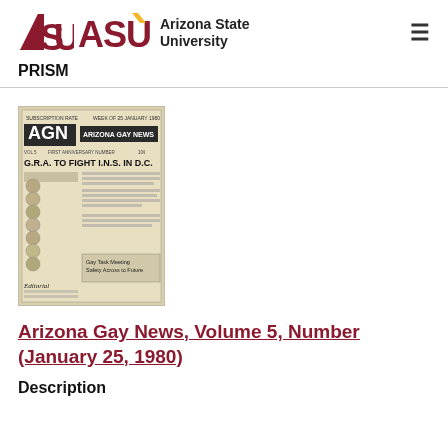ASU Arizona State University | PRISM
[Figure (photo): Scanned newspaper front page of Arizona Gay News showing AGN masthead and headline 'G.R.A. TO FIGHT I.N.S. IN D.C.']
Arizona Gay News, Volume 5, Number (January 25, 1980)
Description